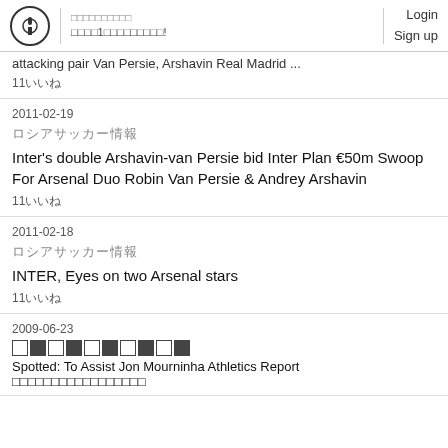Login Sign up
attacking pair Van Persie, Arshavin Real Madrid ...
11いいね
2011-02-19
ロシアサッカー情報
Inter's double Arshavin-van Persie bid Inter Plan €50m Swoop For Arsenal Duo Robin Van Persie & Andrey Arshavin
11いいね
2011-02-18
ロシアサッカー情報
INTER, Eyes on two Arsenal stars
11いいね
2009-06-23
[Figure (other): Row of small squares alternating empty and filled]
Spotted: To Assist Jon Mourninha Athletics Report ...